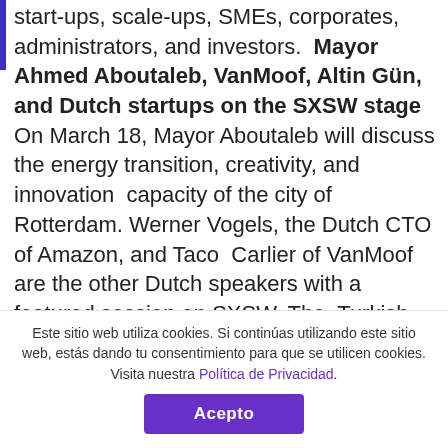start-ups, scale-ups, SMEs, corporates, administrators, and investors. Mayor Ahmed Aboutaleb, VanMoof, Altin Gün, and Dutch startups on the SXSW stage On March 18, Mayor Aboutaleb will discuss the energy transition, creativity, and innovation capacity of the city of Rotterdam. Werner Vogels, the Dutch CTO of Amazon, and Taco Carlier of VanMoof are the other Dutch speakers with a featured session on SXSW. The Turkish-Dutch psychedelic folk band Altin Gün and the Amsterdam bassist and singer songwriter Nana Adjoa are the artists who have a showcase at the SXSW Music Festival. Dutch startups Dayrize.com, AlphaBeats, VideoWindoW have been
Este sitio web utiliza cookies. Si continúas utilizando este sitio web, estás dando tu consentimiento para que se utilicen cookies. Visita nuestra Política de Privacidad.